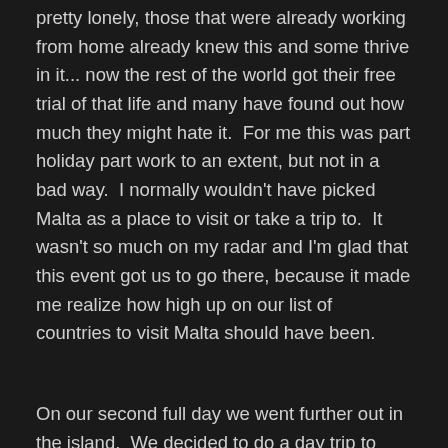pretty lonely, those that were already working from home already knew this and some thrive in it... now the rest of the world got their free trial of that life and many have found out how much they might hate it.  For me this was part holiday part work to an extent, but not in a bad way.  I normally wouldn't have picked Malta as a place to visit or take a trip to.  It wasn't so much on my radar and I'm glad that this event got us to go there, because it made me realize how high up on our list of countries to visit Malta should have been.
On our second full day we went further out in the island.  We decided to do a day trip to  the north of the island.  We got on the bus that would take us to Popeye Village, where the really old movie with Robin Williams was shot.  Unfortunately, we missed the second bus that we were trying to take there and ended up changing course to end up at Paradise Bay beach.  We had to do a lot more walking under the sun than we expected.  My wife, Inken, was not amused during that part, but the sights were worth it and all was